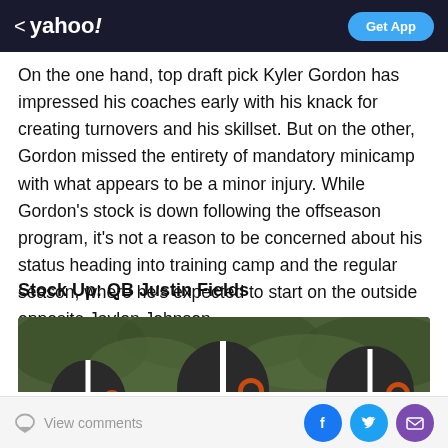< yahoo!  Get App
On the one hand, top draft pick Kyler Gordon has impressed his coaches early with his knack for creating turnovers and his skillset. But on the other, Gordon missed the entirety of mandatory minicamp with what appears to be a minor injury. While Gordon's stock is down following the offseason program, it's not a reason to be concerned about his status heading into training camp and the regular season, where he's expected to start on the outside opposite Jaylon Johnson.
Stock Up: QB Justin Fields
[Figure (photo): Photo of three Chicago Bears players wearing helmets with the Bears logo, on a green outdoor background]
View comments